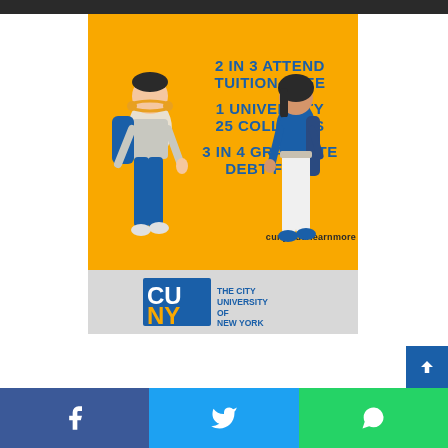[Figure (infographic): CUNY advertisement showing two illustrated students walking. Orange background with blue text stating '2 IN 3 ATTEND TUITION-FREE', '1 UNIVERSITY 25 COLLEGES', '3 IN 4 GRADUATE DEBT-FREE', website cuny.edu/learnmore, and CUNY logo (The City University of New York) on gray bottom section.]